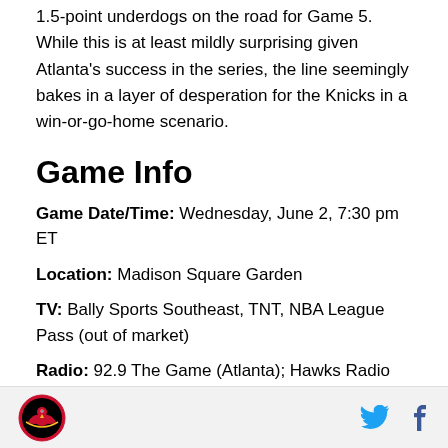1.5-point underdogs on the road for Game 5. While this is at least mildly surprising given Atlanta's success in the series, the line seemingly bakes in a layer of desperation for the Knicks in a win-or-go-home scenario.
Game Info
Game Date/Time: Wednesday, June 2, 7:30 pm ET
Location: Madison Square Garden
TV: Bally Sports Southeast, TNT, NBA League Pass (out of market)
Radio: 92.9 The Game (Atlanta); Hawks Radio